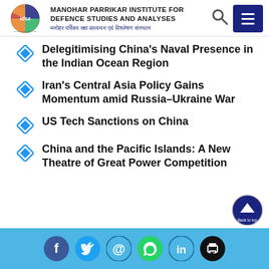Manohar Parrikar Institute for Defence Studies and Analyses
Delegitimising China's Naval Presence in the Indian Ocean Region
Iran's Central Asia Policy Gains Momentum amid Russia–Ukraine War
US Tech Sanctions on China
China and the Pacific Islands: A New Theatre of Great Power Competition
Social media icons: Facebook, Twitter, Email, WhatsApp, LinkedIn, Print